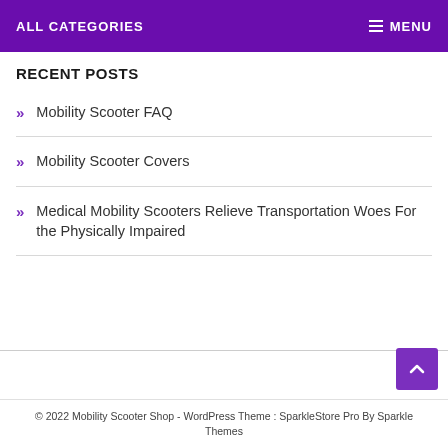ALL CATEGORIES   MENU
RECENT POSTS
Mobility Scooter FAQ
Mobility Scooter Covers
Medical Mobility Scooters Relieve Transportation Woes For the Physically Impaired
© 2022 Mobility Scooter Shop - WordPress Theme : SparkleStore Pro By Sparkle Themes